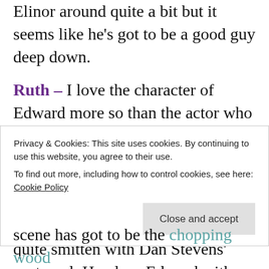Elinor around quite a bit but it seems like he's got to be a good guy deep down.
Ruth – I love the character of Edward more so than the actor who portrays him, but I agree with Paula that Grant's awkwardness with his signature stammering manner is quite endearing. But when I saw the 2008 BBC adaptation, I became quite smitten with Dan Stevens' portrayal. He plays Edward with more confidence and playfulness but still has the
Privacy & Cookies: This site uses cookies. By continuing to use this website, you agree to their use.
To find out more, including how to control cookies, see here: Cookie Policy
Close and accept
scene has got to be the chopping wood